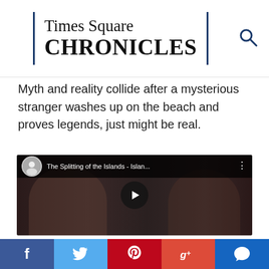Times Square CHRONICLES
Myth and reality collide after a mysterious stranger washes up on the beach and proves legends, just might be real.
[Figure (screenshot): YouTube video embed showing two women, one wearing headphones in front of a microphone. Video title: 'The Splitting of the Islands - Islan...' with YouTube avatar and controls visible.]
Social share bar: Facebook, Twitter, Pinterest, Google+, Comments